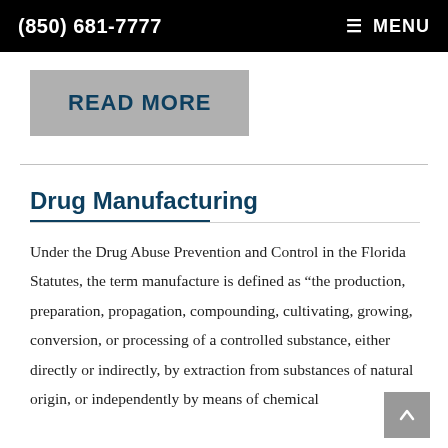(850) 681-7777  MENU
READ MORE
Drug Manufacturing
Under the Drug Abuse Prevention and Control in the Florida Statutes, the term manufacture is defined as “the production, preparation, propagation, compounding, cultivating, growing, conversion, or processing of a controlled substance, either directly or indirectly, by extraction from substances of natural origin, or independently by means of chemical synthesis, or by a combination of extraction and chemical